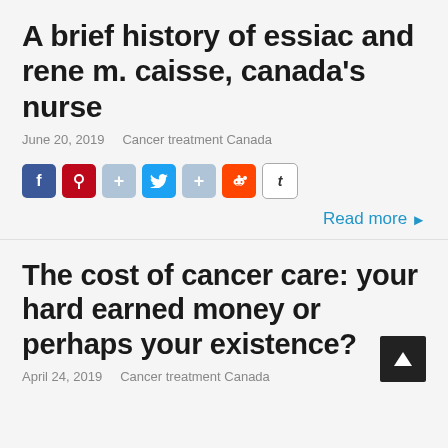A brief history of essiac and rene m. caisse, canada’s nurse
June 20, 2019    Cancer treatment Canada
[Figure (infographic): Row of social media share buttons: Facebook (blue), Pinterest (red), plus (light blue), Twitter (blue), plus (light blue), Reddit (orange), Tumblr (white/gray border)]
Read more ►
The cost of cancer care: your hard earned money or perhaps your existence?
April 24, 2019    Cancer treatment Canada